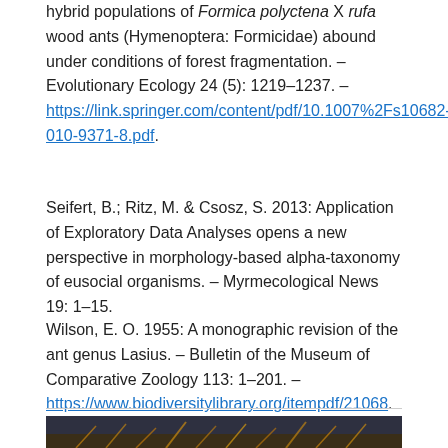hybrid populations of Formica polyctena X rufa wood ants (Hymenoptera: Formicidae) abound under conditions of forest fragmentation. – Evolutionary Ecology 24 (5): 1219–1237. – https://link.springer.com/content/pdf/10.1007%2Fs10682-010-9371-8.pdf.
Seifert, B.; Ritz, M. & Csosz, S. 2013: Application of Exploratory Data Analyses opens a new perspective in morphology-based alpha-taxonomy of eusocial organisms. – Myrmecological News 19: 1–15.
Wilson, E. O. 1955: A monographic revision of the ant genus Lasius. – Bulletin of the Museum of Comparative Zoology 113: 1–201. – https://www.biodiversitylibrary.org/itempdf/21068.
[Figure (photo): Close-up photograph of an ant on a dark background, showing orange/amber body hair details at the bottom of the frame]